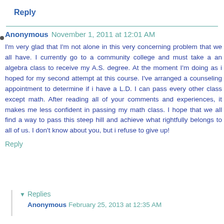Reply
Anonymous  November 1, 2011 at 12:01 AM
I'm very glad that I'm not alone in this very concerning problem that we all have. I currently go to a community college and must take a an algebra class to receive my A.S. degree. At the moment I'm doing as i hoped for my second attempt at this course. I've arranged a counseling appointment to determine if i have a L.D. I can pass every other class except math. After reading all of your comments and experiences, it makes me less confident in passing my math class. I hope that we all find a way to pass this steep hill and achieve what rightfully belongs to all of us. I don't know about you, but i refuse to give up!
Reply
▼ Replies
Anonymous  February 25, 2013 at 12:35 AM